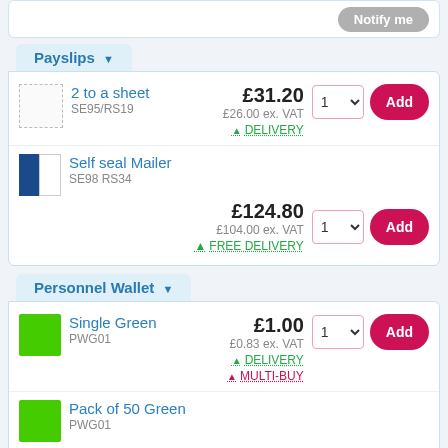[Figure (screenshot): Notify me button at top of page]
Payslips
2 to a sheet
SE95/RS19
£31.20
£26.00 ex. VAT
DELIVERY
Self seal Mailer
SE98 RS34
£124.80
£104.00 ex. VAT
FREE DELIVERY
Personnel Wallet
Single Green
PWG01
£1.00
£0.83 ex. VAT
DELIVERY
MULTI-BUY
Pack of 50 Green
PWG01